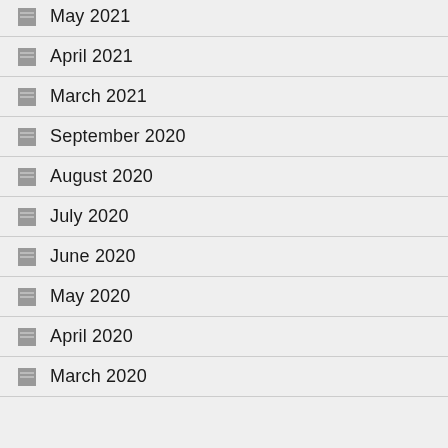May 2021
April 2021
March 2021
September 2020
August 2020
July 2020
June 2020
May 2020
April 2020
March 2020